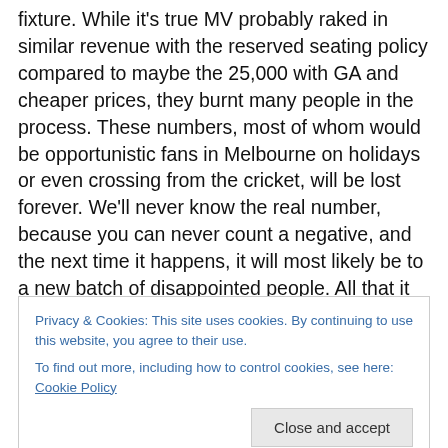fixture. While it's true MV probably raked in similar revenue with the reserved seating policy compared to maybe the 25,000 with GA and cheaper prices, they burnt many people in the process. These numbers, most of whom would be opportunistic fans in Melbourne on holidays or even crossing from the cricket, will be lost forever. We'll never know the real number, because you can never count a negative, and the next time it happens, it will most likely be to a new batch of disappointed people. All that it means, at least to this occasional A-League attendee: If you spontaneously feel inclined to amble to
Privacy & Cookies: This site uses cookies. By continuing to use this website, you agree to their use.
To find out more, including how to control cookies, see here: Cookie Policy
Close and accept